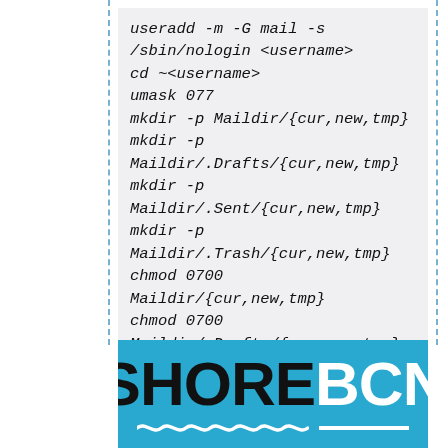useradd -m -G mail -s /sbin/nologin <username>
cd ~<username>
umask 077
mkdir -p Maildir/{cur,new,tmp}
mkdir -p Maildir/.Drafts/{cur,new,tmp}
mkdir -p Maildir/.Sent/{cur,new,tmp}
mkdir -p Maildir/.Trash/{cur,new,tmp}
chmod 0700 Maildir/{cur,new,tmp}
chmod 0700 Maildir/.Drafts/{cur,new,tmp}
chmod 0700 Maildir/.Sent/{cur,new,tmp}
chmod 0700 Maildir/.Trash/{cur,new,tmp}
chown -R <username>:users *
[Figure (logo): SHORE BCN logo — 'SHORE' in black bold uppercase and 'BCN' in white bold uppercase on a cyan/blue background, with a wavy white underline beneath 'SHORE' and a solid white horizontal line beneath 'BCN'.]